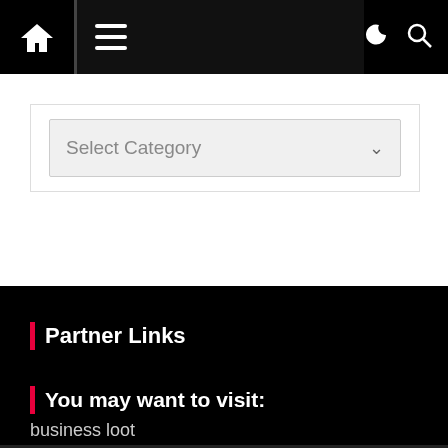[Figure (screenshot): Website navigation bar with home icon, hamburger menu, moon/dark mode icon, and search icon on black background]
[Figure (screenshot): Dropdown select box labeled 'Select Category' with a chevron arrow on light grey background]
Partner Links
You may want to visit:
business loot